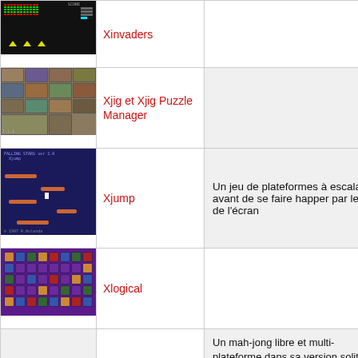[Figure (screenshot): Xinvaders game screenshot showing space invaders style game with green alien rows and yellow cannons on black background]
Xinvaders
[Figure (screenshot): Xjig and Xjig Puzzle Manager screenshot showing a jigsaw puzzle game]
Xjig et Xjig Puzzle Manager
[Figure (screenshot): Xjump game screenshot showing platform game with blue background and orange platforms]
Xjump
Un jeu de plateformes à escalader avant de se faire happer par le bas de l'écran
[Figure (screenshot): Xlogical game screenshot showing purple grid with colored tile pieces]
Xlogical
Un mah-jong libre et multi-plateforme dans sa version solitaire, un jeu d'appairage de tuiles. Les tuiles sont empilées sur un plateau, l'objectif est de toutes les éliminer en les appairant